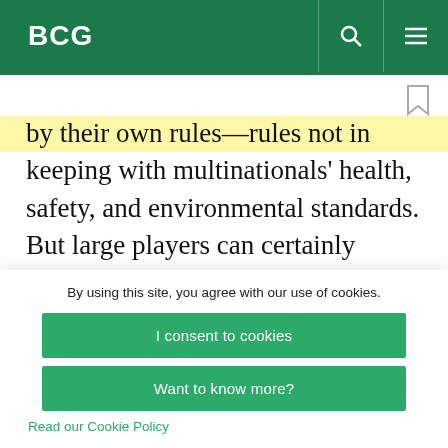BCG
by their own rules—rules not in keeping with multinationals' health, safety, and environmental standards. But large players can certainly become more flexible by, for instance, giving local teams more decision-making authority and outsourcing parts of the value chain. In Mozambique, for
By using this site, you agree with our use of cookies.
I consent to cookies
Want to know more?
Read our Cookie Policy